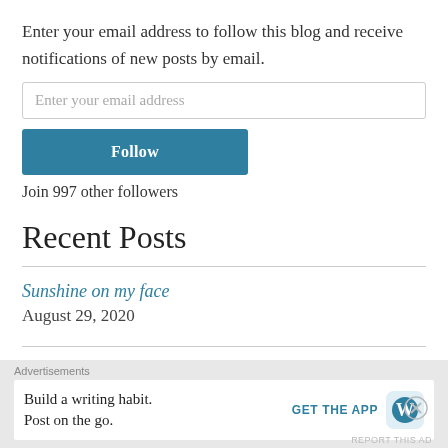Enter your email address to follow this blog and receive notifications of new posts by email.
Enter your email address
Follow
Join 997 other followers
Recent Posts
Sunshine on my face
August 29, 2020
I am listening
June 14, 2020
Advertisements
Build a writing habit. Post on the go.
GET THE APP